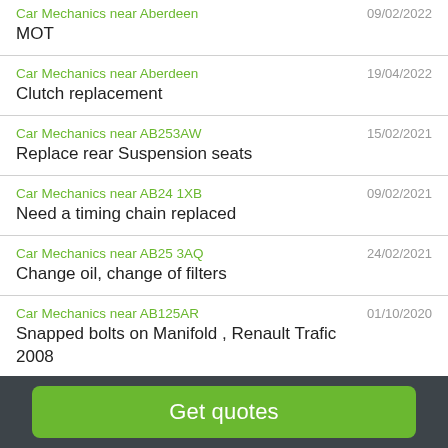Car Mechanics near Aberdeen | 09/02/2022 | MOT
Car Mechanics near Aberdeen | 19/04/2022 | Clutch replacement
Car Mechanics near AB253AW | 15/02/2021 | Replace rear Suspension seats
Car Mechanics near AB24 1XB | 09/02/2021 | Need a timing chain replaced
Car Mechanics near AB25 3AQ | 24/02/2021 | Change oil, change of filters
Car Mechanics near AB125AR | 01/10/2020 | Snapped bolts on Manifold , Renault Trafic 2008
Get quotes